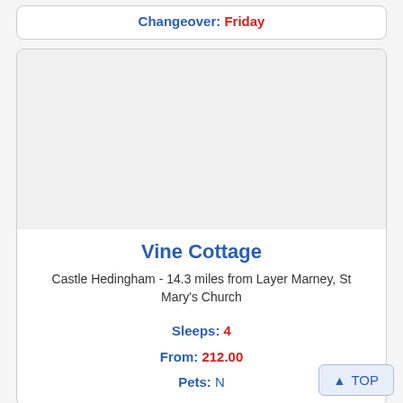Changeover: Friday
[Figure (photo): Photo of Vine Cottage property (white/blank placeholder)]
Vine Cottage
Castle Hedingham - 14.3 miles from Layer Marney, St Mary's Church
Sleeps: 4
From: 212.00
Pets: N